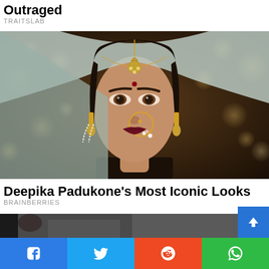Outraged
TRAITSLAB
[Figure (photo): Close-up portrait of Deepika Padukone in traditional Indian bridal attire with maang tikka jewelry, nose ring, and dupatta, dark bokeh background]
Deepika Padukone's Most Iconic Looks
BRAINBERRIES
[Figure (photo): Partial view of another article photo, dark background with figure visible]
Facebook | Twitter | Reddit | WhatsApp